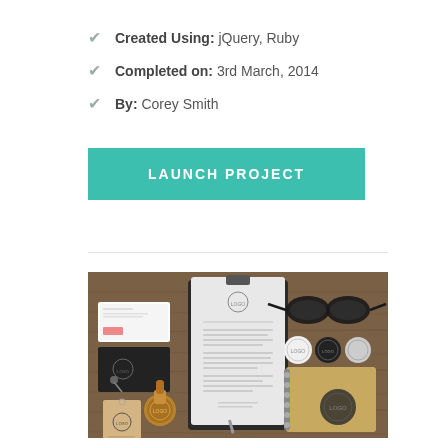Created Using: jQuery, Ruby
Completed on: 3rd March, 2014
By: Corey Smith
LAUNCH PROJECT
[Figure (photo): Branding mockup flat lay on a wooden surface showing a clipboard with letterhead, business cards, glasses, a notebook, wax seal stamp, and various branded items with a circular logo mark.]